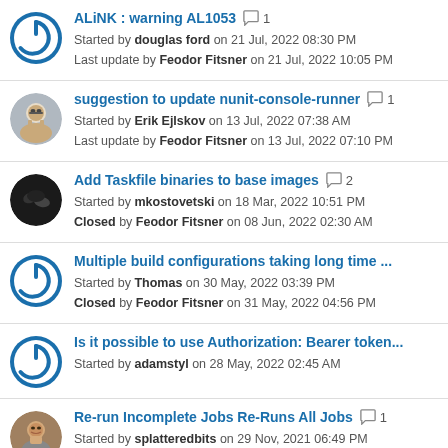ALiNK : warning AL1053 | 1 comment | Started by douglas ford on 21 Jul, 2022 08:30 PM | Last update by Feodor Fitsner on 21 Jul, 2022 10:05 PM
suggestion to update nunit-console-runner | 1 comment | Started by Erik Ejlskov on 13 Jul, 2022 07:38 AM | Last update by Feodor Fitsner on 13 Jul, 2022 07:10 PM
Add Taskfile binaries to base images | 2 comments | Started by mkostovetski on 18 Mar, 2022 10:51 PM | Closed by Feodor Fitsner on 08 Jun, 2022 02:30 AM
Multiple build configurations taking long time ... | Started by Thomas on 30 May, 2022 03:39 PM | Closed by Feodor Fitsner on 31 May, 2022 04:56 PM
Is it possible to use Authorization: Bearer token... | Started by adamstyl on 28 May, 2022 02:45 AM
Re-run Incomplete Jobs Re-Runs All Jobs | 1 comment | Started by splatteredbits on 29 Nov, 2021 06:49 PM